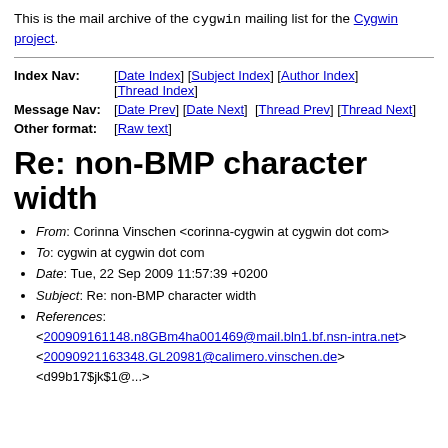This is the mail archive of the cygwin mailing list for the Cygwin project.
| Index Nav: | [Date Index] [Subject Index] [Author Index] [Thread Index] |
| Message Nav: | [Date Prev] [Date Next]  [Thread Prev] [Thread Next] |
| Other format: | [Raw text] |
Re: non-BMP character width
From: Corinna Vinschen <corinna-cygwin at cygwin dot com>
To: cygwin at cygwin dot com
Date: Tue, 22 Sep 2009 11:57:39 +0200
Subject: Re: non-BMP character width
References: <200909161148.n8GBm4ha001469@mail.bln1.bf.nsn-intra.net> <20090921163348.GL20981@calimero.vinschen.de>